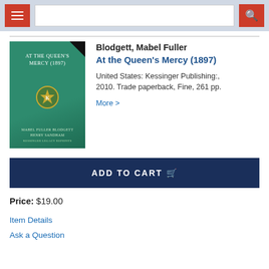Navigation bar with menu and search
[Figure (illustration): Book cover: green cover with title 'AT THE QUEEN'S MERCY (1897)', publisher emblem in center, authors MABEL FULLER BLODGETT and HENRY SANDHAM at bottom]
Blodgett, Mabel Fuller
At the Queen's Mercy (1897)
United States: Kessinger Publishing:, 2010. Trade paperback, Fine, 261 pp.
More >
ADD TO CART
Price: $19.00
Item Details
Ask a Question